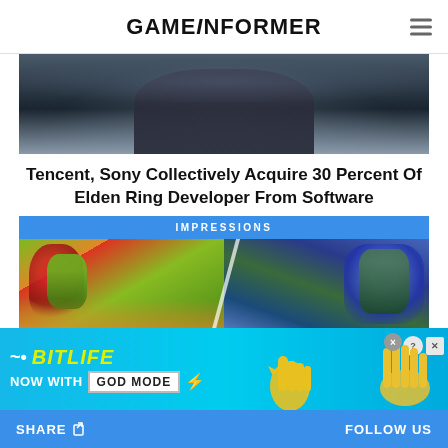GAMEINFORMER
[Figure (screenshot): Dark fantasy game screenshot showing a brooding figure in a misty, stormy landscape - likely Elden Ring]
Tencent, Sony Collectively Acquire 30 Percent Of Elden Ring Developer From Software
IMPRESSIONS
[Figure (illustration): TMNT (Teenage Mutant Ninja Turtles) illustration showing classic cartoon style on left and darker game art style on right]
[Figure (other): BitLife advertisement banner: NOW WITH GOD MODE, featuring cartoon hands and icons]
SHARE  FOLLOW US